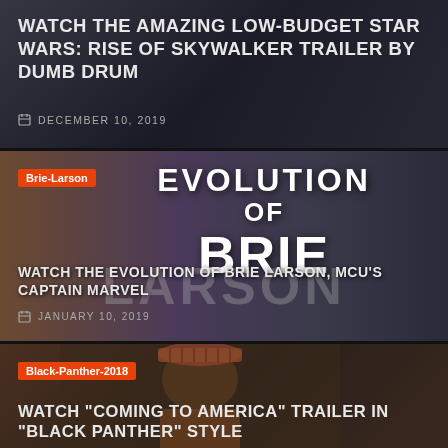[Figure (photo): Dark cinematic background with Star Wars themed imagery]
WATCH THE AMAZING LOW-BUDGET STAR WARS: RISE OF SKYWALKER TRAILER BY DUMB DRUM
DECEMBER 10, 2019
[Figure (photo): Brie Larson evolution photo collage showing child and adult versions with EVOLUTION OF BRIE LARSON text overlay]
WATCH THE EVOLUTION OF BRIE LARSON, MCU'S CAPTAIN MARVEL
JANUARY 10, 2019
[Figure (photo): Man in plaid beret and jacket, Coming to America / Black Panther crossover theme]
WATCH "COMING TO AMERICA" TRAILER IN "BLACK PANTHER" STYLE